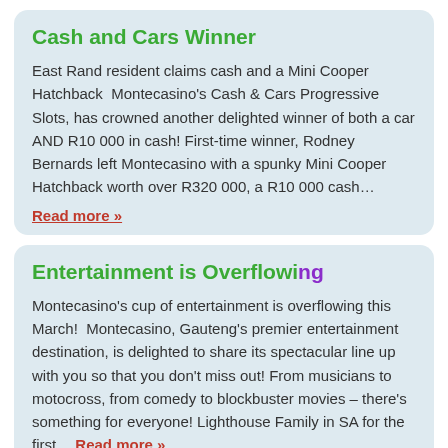Cash and Cars Winner
East Rand resident claims cash and a Mini Cooper Hatchback  Montecasino's Cash & Cars Progressive Slots, has crowned another delighted winner of both a car AND R10 000 in cash! First-time winner, Rodney Bernards left Montecasino with a spunky Mini Cooper Hatchback worth over R320 000, a R10 000 cash…
Read more »
Entertainment is Overflowing
Montecasino's cup of entertainment is overflowing this March!  Montecasino, Gauteng's premier entertainment destination, is delighted to share its spectacular line up with you so that you don't miss out! From musicians to motocross, from comedy to blockbuster movies – there's something for everyone! Lighthouse Family in SA for the first… Read more »